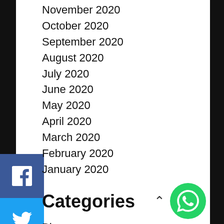November 2020
October 2020
September 2020
August 2020
July 2020
June 2020
May 2020
April 2020
March 2020
February 2020
January 2020
Categories
Blog
Communities